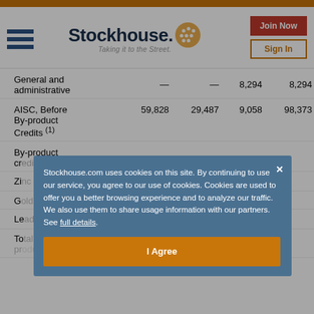Stockhouse - Taking it to the Street. [Join Now] [Sign In]
|  |  |  |  |  |  |  |
| --- | --- | --- | --- | --- | --- | --- |
| General and administrative | — | — | 8,294 | 8,294 | — | — |
| AISC, Before By-product Credits (1) | 59,828 | 29,487 | 9,058 | 98,373 | 61,820 | 29,19... |
| By-product credits |  |  |  |  |  |  |
| Zinc |  |  |  |  |  | ...02 |
| Gold |  |  |  |  |  |  |
| Lead |  |  |  |  |  | ...2 |
| Total by-product credits |  |  |  |  |  | ...2 |
Stockhouse.com uses cookies on this site. By continuing to use our service, you agree to our use of cookies. Cookies are used to offer you a better browsing experience and to analyze our traffic. We also use them to share usage information with our partners. See full details.
I Agree